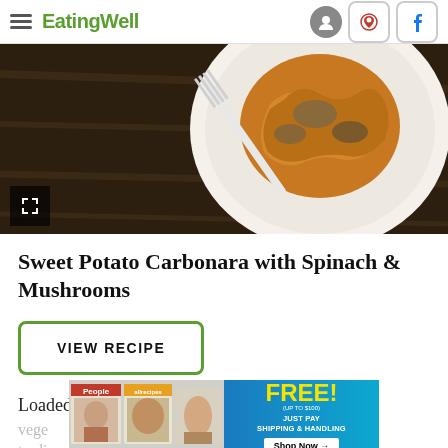EatingWell
[Figure (photo): Overhead view of a white plate with spiralized sweet potato carbonara with mushrooms on a dark wooden table, with a fork visible]
Sweet Potato Carbonara with Spinach & Mushrooms
VIEW RECIPE
Loaded with veggies, this spiralized sweet potato
[Figure (other): Advertisement banner: People and allrecipes magazines, Grab Top Titles for FREE (Up to $100), Just Pay Shipping & Handling, Shop Now arrow button]